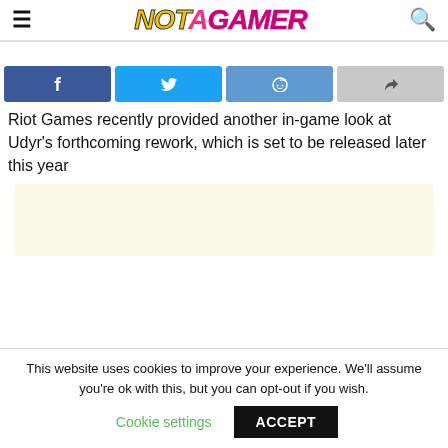NOT A GAMER
[Figure (infographic): Social share buttons: Facebook, Twitter, Reddit, Share]
Riot Games recently provided another in-game look at Udyr’s forthcoming rework, which is set to be released later this year
[Figure (other): Advertisement placeholder block with cream/beige background]
This website uses cookies to improve your experience. We’ll assume you’re ok with this, but you can opt-out if you wish. Cookie settings  ACCEPT